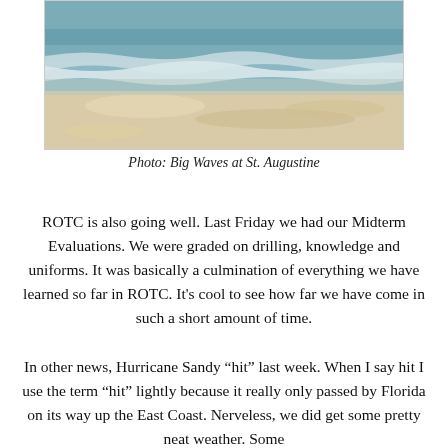[Figure (photo): Beach scene showing waves at St. Augustine — teal-blue ocean waves breaking on sandy shore]
Photo: Big Waves at St. Augustine
ROTC is also going well. Last Friday we had our Midterm Evaluations. We were graded on drilling, knowledge and uniforms. It was basically a culmination of everything we have learned so far in ROTC. It's cool to see how far we have come in such a short amount of time.
In other news, Hurricane Sandy “hit” last week. When I say hit I use the term “hit” lightly because it really only passed by Florida on its way up the East Coast. Nerveless, we did get some pretty neat weather. Some